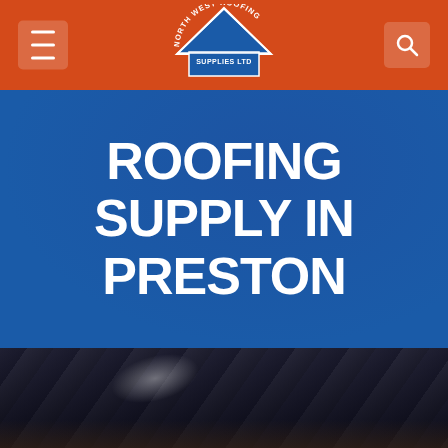North West Roofing Supplies Ltd – navigation header with hamburger menu and search icon
[Figure (logo): North West Roofing Supplies Ltd logo: blue triangle/house shape with text arched around it reading NORTH WEST ROOFING SUPPLIES LTD]
ROOFING SUPPLY IN PRESTON
[Figure (photo): Close-up photograph of dark roofing slate tiles stacked or layered, with a light reflection visible on one tile]